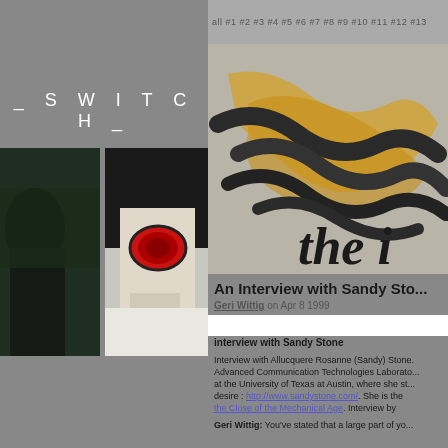SWITCH
all #1 #2 #3 #4 #5 #6 #7 #8 #9 #10 #11 #12 #13
[Figure (photo): Two photos side by side: left shows a dark figure, right shows a person with red glasses/goggles close up]
[Figure (photo): Stylized image with hand/brush strokes in yellow and gray tones, with partial text 'the i' visible]
An Interview with Sandy Sto...
Geri Wittig on Apr 8 1999
interview with Sandy Stone
Interview with Allucquere Rosanne (Sandy) Stone. Advanced Communication Technologies Laboratory at the University of Texas at Austin, where she st... desire : http://www.sandystone.com/. She is the the Close of the Mechanical Age. Interview by
Geri Wittig: You've stated that a large part of yo...